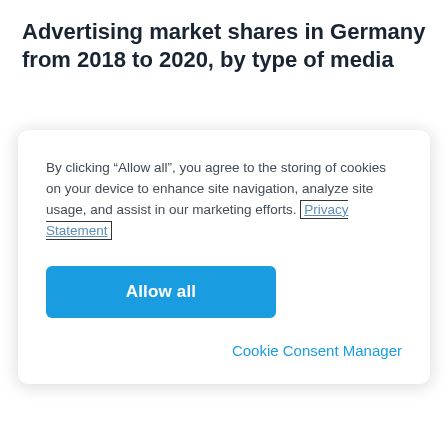Advertising market shares in Germany from 2018 to 2020, by type of media
By clicking “Allow all”, you agree to the storing of cookies on your device to enhance site navigation, analyze site usage, and assist in our marketing efforts. Privacy Statement
Allow all
Cookie Consent Manager